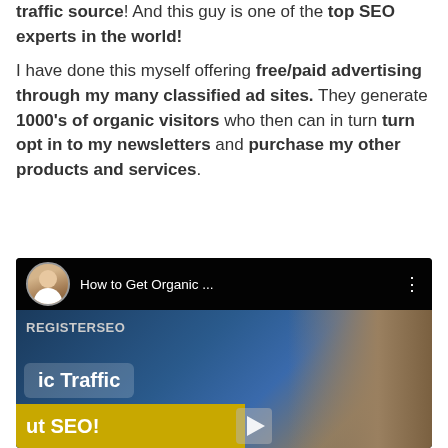traffic source! And this guy is one of the top SEO experts in the world!

I have done this myself offering free/paid advertising through my many classified ad sites. They generate 1000's of organic visitors who then can in turn opt in to my newsletters and purchase my other products and services.
[Figure (screenshot): YouTube video thumbnail showing 'How to Get Organic ...' with avatar, REGISTERSEO branding, 'ic Traffic' pill, 'ut SEO!' yellow bar, and play button]